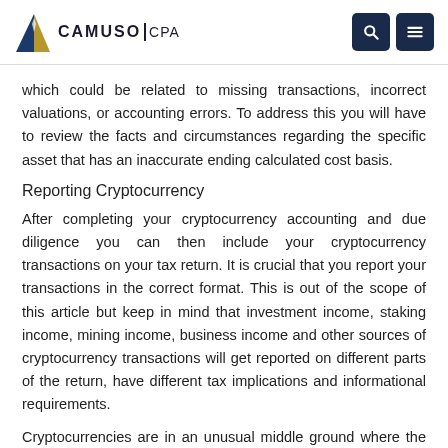CAMUSO CPA
which could be related to missing transactions, incorrect valuations, or accounting errors. To address this you will have to review the facts and circumstances regarding the specific asset that has an inaccurate ending calculated cost basis.
Reporting Cryptocurrency
After completing your cryptocurrency accounting and due diligence you can then include your cryptocurrency transactions on your tax return. It is crucial that you report your transactions in the correct format. This is out of the scope of this article but keep in mind that investment income, staking income, mining income, business income and other sources of cryptocurrency transactions will get reported on different parts of the return, have different tax implications and informational requirements.
Cryptocurrencies are in an unusual middle ground where the IRS is now cracking down on them, but even many licensed CPAs are